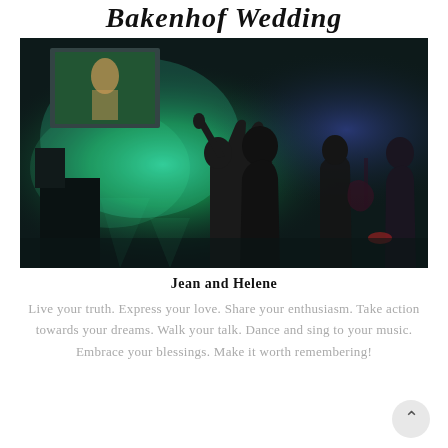Bakenhof Wedding
[Figure (photo): Silhouette of a person raising their hand at a concert/wedding event with green atmospheric smoke lighting and performers on stage in the background]
Jean and Helene
Live your truth. Express your love. Share your enthusiasm. Take action towards your dreams. Walk your talk. Dance and sing to your music. Embrace your blessings. Make it worth remembering!